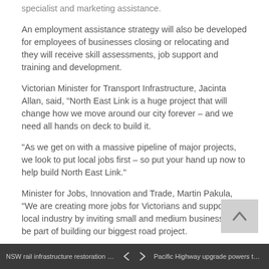specialist and marketing assistance.
An employment assistance strategy will also be developed for employees of businesses closing or relocating and they will receive skill assessments, job support and training and development.
Victorian Minister for Transport Infrastructure, Jacinta Allan, said, "North East Link is a huge project that will change how we move around our city forever – and we need all hands on deck to build it.
"As we get on with a massive pipeline of major projects, we look to put local jobs first – so put your hand up now to help build North East Link."
Minister for Jobs, Innovation and Trade, Martin Pakula, "We are creating more jobs for Victorians and supporting local industry by inviting small and medium businesses to be part of building our biggest road project.
"We know that one of the biggest challenges for local businesses is breaking into new or expanding supply chains and that's why we're making sure there are opportunities for everyone to be part of North East Link."
Interested businesses should register their interest here.
NSW rail infrastructure restoration under... < > Pacific Highway upgrade powers towards...